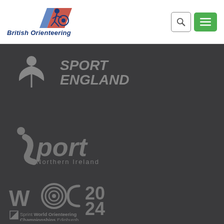[Figure (logo): British Orienteering logo with running figure and text 'British Orienteering']
[Figure (logo): Sport England logo in grey on dark background]
[Figure (logo): Sport Northern Ireland logo in grey on dark background]
[Figure (logo): WOC 2024 Sprint World Orienteering Championships Edinburgh logo in grey on dark background]